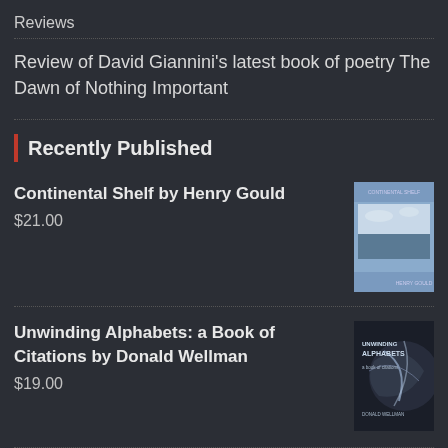Reviews
Review of David Giannini’s latest book of poetry The Dawn of Nothing Important
Recently Published
Continental Shelf by Henry Gould
$21.00
[Figure (illustration): Book cover for Continental Shelf by Henry Gould, blue-grey cover with landscape image]
Unwinding Alphabets: a Book of Citations by Donald Wellman
$19.00
[Figure (illustration): Book cover for Unwinding Alphabets: a Book of Citations by Donald Wellman, dark cover with swirling light/storm imagery]